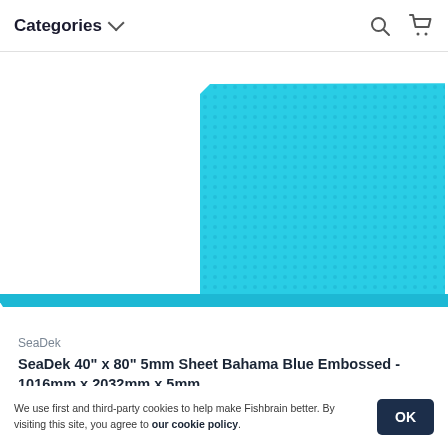Categories
[Figure (photo): A turquoise/Bahama Blue embossed foam sheet (SeaDek) shown at an angle against a white background. The sheet has a textured embossed surface pattern in bright cyan/blue color.]
SeaDek
SeaDek 40" x 80" 5mm Sheet Bahama Blue Embossed - 1016mm x 2032mm x 5mm
$159.99
We use first and third-party cookies to help make Fishbrain better. By visiting this site, you agree to our cookie policy.